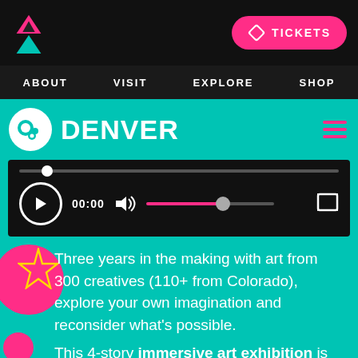MeOW Wolf - TICKETS | ABOUT | VISIT | EXPLORE | SHOP
DENVER
[Figure (screenshot): Video player with play button, progress bar at 00:00, volume slider, and fullscreen icon on black background]
Three years in the making with art from 300 creatives (110+ from Colorado), explore your own imagination and reconsider what's possible.
This 4-story immersive art exhibition is home to 70+ unique installations, rooms, and portals. Together, they tell an unforgettable, cathartic tale of converged worlds. Arrive as you. Leave